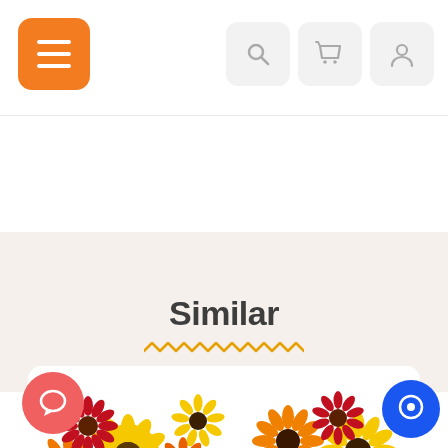[Figure (screenshot): Mobile app header with orange hamburger menu button on the left, and three icon buttons (search, cart, user) on the right with light gray rounded square backgrounds]
[Figure (screenshot): Carousel navigation area with left and right chevron arrows and five pagination dots, the first dot active in amber/orange color]
Similar
[Figure (photo): Product card showing a colorful bouquet of gerbera daisies in yellow, orange, and red colors on a white background]
[Figure (screenshot): Red circular chat button with speech bubble icon on the lower left, and blue circular chat button on the lower right]